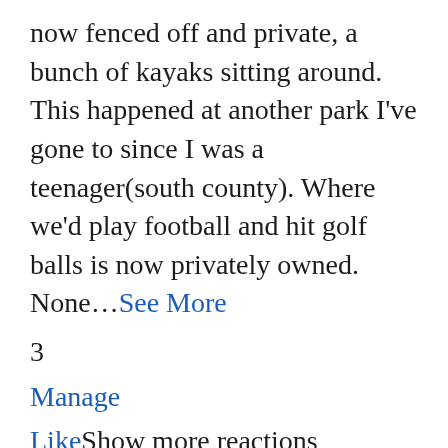now fenced off and private, a bunch of kayaks sitting around. This happened at another park I've gone to since I was a teenager(south county). Where we'd play football and hit golf balls is now privately owned. None...See More
3
Manage
LikeShow more reactions
· Reply · Message · 3d
Shannon Owle Purvis